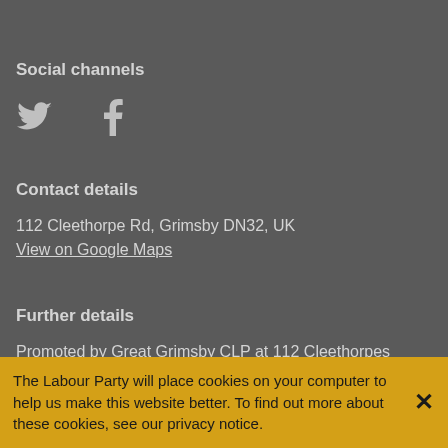Social channels
[Figure (illustration): Twitter bird icon and Facebook 'f' icon for social media links]
Contact details
112 Cleethorpe Rd, Grimsby DN32, UK
View on Google Maps
Further details
Promoted by Great Grimsby CLP at 112 Cleethorpes Road, Great Grimsby, North East Lincolnshire, DN31 3HW on behalf of all
The Labour Party will place cookies on your computer to help us make this website better. To find out more about these cookies, see our privacy notice.